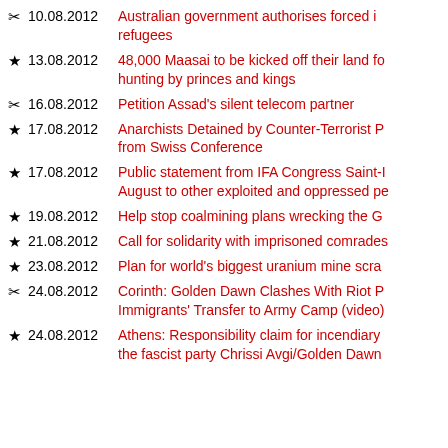✂ 10.08.2012 Australian government authorises forced immigration of refugees
★ 13.08.2012 48,000 Maasai to be kicked off their land for hunting by princes and kings
✂ 16.08.2012 Petition Assad's silent telecom partner
★ 17.08.2012 Anarchists Detained by Counter-Terrorist Police from Swiss Conference
★ 17.08.2012 Public statement from IFA Congress Saint-I August to other exploited and oppressed pe
★ 19.08.2012 Help stop coalmining plans wrecking the G
★ 21.08.2012 Call for solidarity with imprisoned comrades
★ 23.08.2012 Plan for world's biggest uranium mine scra
✂ 24.08.2012 Corinth: Golden Dawn Clashes With Riot P Immigrants' Transfer to Army Camp (video)
★ 24.08.2012 Athens: Responsibility claim for incendiary the fascist party Chrissi Avgi/Golden Dawn